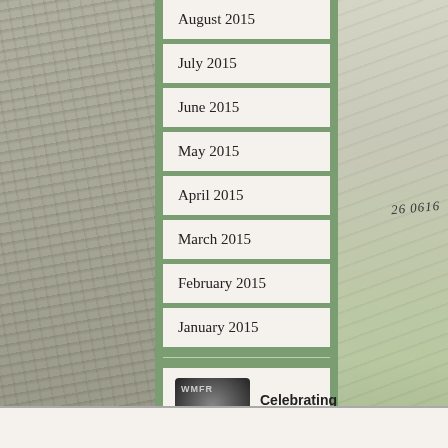August 2015
July 2015
June 2015
May 2015
April 2015
March 2015
February 2015
January 2015
Celebrating Hozier Fan Art